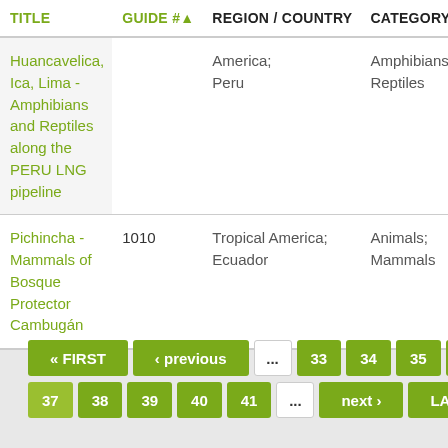| TITLE | GUIDE # | REGION / COUNTRY | CATEGORY / SU |
| --- | --- | --- | --- |
| Huancavelica, Ica, Lima - Amphibians and Reptiles along the PERU LNG pipeline |  | America; Peru | Amphibians; Reptiles |
| Pichincha - Mammals of Bosque Protector Cambugán | 1010 | Tropical America; Ecuador | Animals; Mammals |
« FIRST
‹ previous
...
33
34
35
36
37
38
39
40
41
...
next ›
LAST »